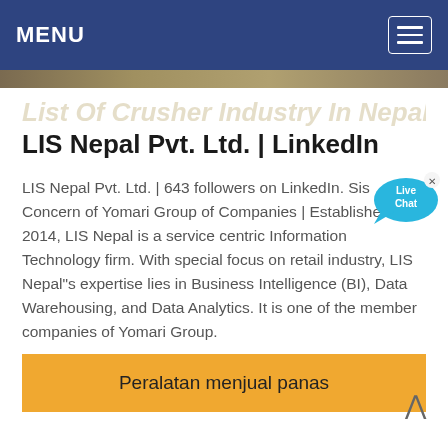MENU
List Of Crusher Industry In Nepal
LIS Nepal Pvt. Ltd. | LinkedIn
LIS Nepal Pvt. Ltd. | 643 followers on LinkedIn. Sister Concern of Yomari Group of Companies | Established in 2014, LIS Nepal is a service centric Information Technology firm. With special focus on retail industry, LIS Nepal"s expertise lies in Business Intelligence (BI), Data Warehousing, and Data Analytics. It is one of the member companies of Yomari Group.
Peralatan menjual panas